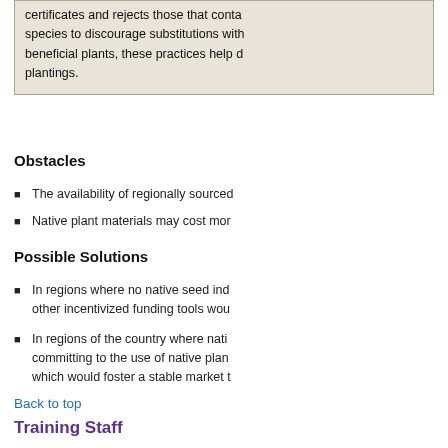certificates and rejects those that conta species to discourage substitutions with beneficial plants, these practices help d plantings.
Obstacles
The availability of regionally sourced
Native plant materials may cost mor
Possible Solutions
In regions where no native seed ind other incentivized funding tools wou
In regions of the country where nati committing to the use of native plan which would foster a stable market t
Back to top
Training Staff
Education and training were universally me we interviewed expressed a need for DOT s and ecological value of native plants, the pr
Value of Native Plants
Some State DOT personnel feel that roadsi